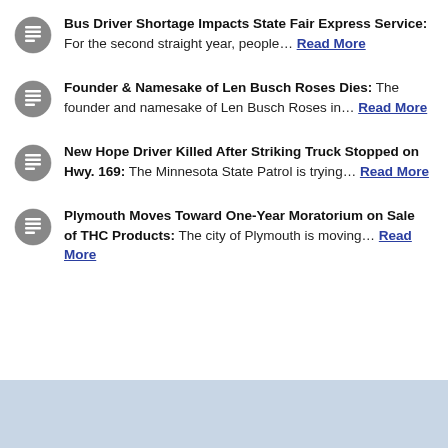Bus Driver Shortage Impacts State Fair Express Service: For the second straight year, people… Read More
Founder & Namesake of Len Busch Roses Dies: The founder and namesake of Len Busch Roses in… Read More
New Hope Driver Killed After Striking Truck Stopped on Hwy. 169: The Minnesota State Patrol is trying… Read More
Plymouth Moves Toward One-Year Moratorium on Sale of THC Products: The city of Plymouth is moving… Read More